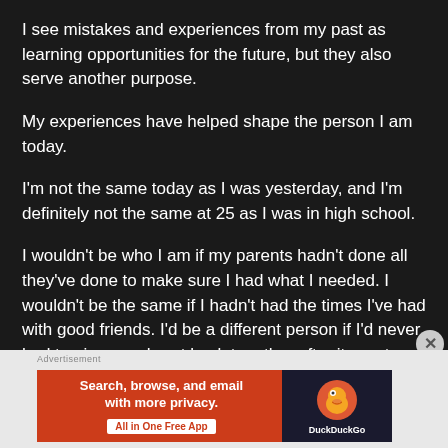I see mistakes and experiences from my past as learning opportunities for the future, but they also serve another purpose.
My experiences have helped shape the person I am today.
I'm not the same today as I was yesterday, and I'm definitely not the same at 25 as I was in high school.
I wouldn't be who I am if my parents hadn't done all they've done to make sure I had what I needed. I wouldn't be the same if I hadn't had the times I've had with good friends. I'd be a different person if I'd never had to piece my heart back together after it was torn
[Figure (infographic): DuckDuckGo advertisement banner with orange background showing 'Search, browse, and email with more privacy. All in One Free App' with DuckDuckGo logo on dark blue background on the right side.]